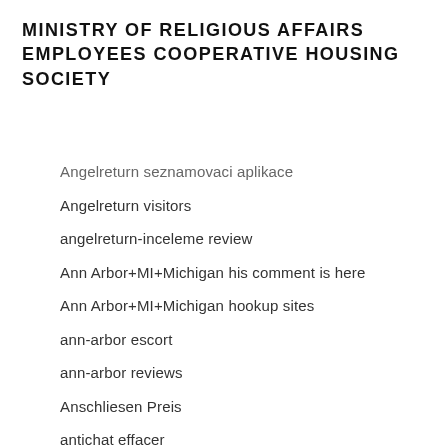MINISTRY OF RELIGIOUS AFFAIRS EMPLOYEES COOPERATIVE HOUSING SOCIETY
Angelreturn seznamovaci aplikace
Angelreturn visitors
angelreturn-inceleme review
Ann Arbor+MI+Michigan his comment is here
Ann Arbor+MI+Michigan hookup sites
ann-arbor escort
ann-arbor reviews
Anschliesen Preis
antichat effacer
antichat-inceleme review